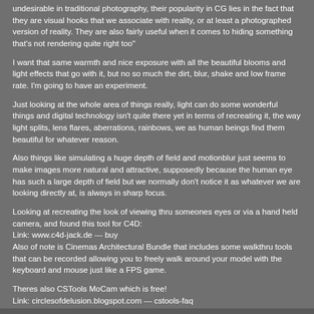undesirable in traditional photography, their popularity in CG lies in the fact that they are visual hooks that we associate with reality, or at least a photographed version of reality. They are also fairly useful when it comes to hiding something that's not rendering quite right too"
I want that same warmth and nice exposure with all the beautiful blooms and light effects that go with it, but no so much the dirt, blur, shake and low frame rate. I'm going to have an experiment.
Just looking at the whole area of things really, light can do some wonderful things and digital technology isn't quite there yet in terms of recreating it, the way light splits, lens flares, aberrations, rainbows, we as human beings find them beautiful for whatever reason.
Also things like simulating a huge depth of field and motionblur just seems to make images more natural and attractive, supposedly because the human eye has such a large depth of field but we normally don't notice it as whatever we are looking directly at, is always in sharp focus.
Looking at recreating the look of viewing thru someones eyes or via a hand held camera, and found this tool for C4D:
Link: www.c4d-jack.de --- buy
Also of note is Cinemas Architectural Bundle that includes some walkthru tools that can be recorded allowing you to freely walk around your model with the keyboard and mouse just like a FPS game.
Theres also CSTools MoCam which is free!
Link: circlesofdelusion.blogspot.com --- cstools-faq